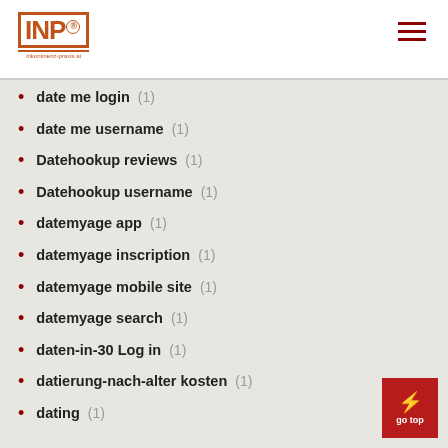[Figure (logo): INP logo with orange/red border and registered trademark symbol]
date me login (1)
date me username (1)
Datehookup reviews (1)
Datehookup username (1)
datemyage app (1)
datemyage inscription (1)
datemyage mobile site (1)
datemyage search (1)
daten-in-30 Log in (1)
datierung-nach-alter kosten (1)
dating (1)